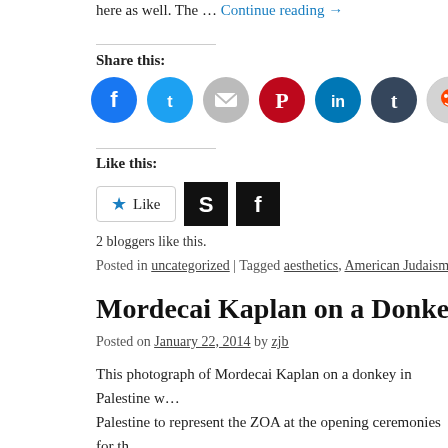here as well. The … Continue reading →
Share this:
[Figure (infographic): Social share icons: Facebook (blue circle), Twitter (blue circle), Email (gray circle), Pinterest (red circle), LinkedIn (teal circle), Tumblr (dark teal circle), Reddit (light gray circle)]
Like this:
[Figure (infographic): Like button with star icon, followed by two blogger avatar squares (S logo black, f logo black)]
2 bloggers like this.
Posted in uncategorized | Tagged aesthetics, American Judaism, art, Mordec…
Mordecai Kaplan on a Donkey in Palestin…
Posted on January 22, 2014 by zjb
This photograph of Mordecai Kaplan on a donkey in Palestine w… Palestine to represent the ZOA at the opening ceremonies for th… p.203 of Communings of the Spirit, Mel … Continue reading →